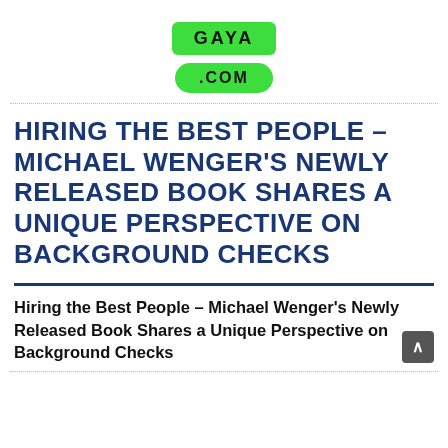[Figure (logo): GAYA .COM logo with green rounded rectangle badges]
HIRING THE BEST PEOPLE – MICHAEL WENGER'S NEWLY RELEASED BOOK SHARES A UNIQUE PERSPECTIVE ON BACKGROUND CHECKS
Hiring the Best People – Michael Wenger's Newly Released Book Shares a Unique Perspective on Background Checks